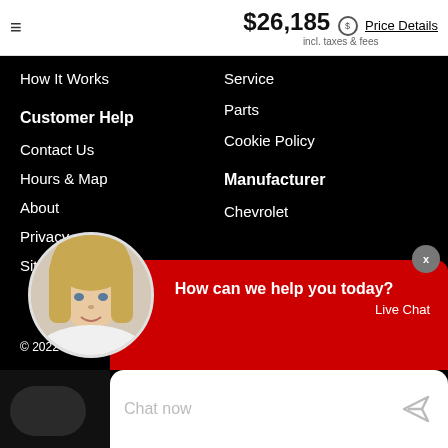$26,185 incl. taxes & fees — Price Details
How It Works
Service
Parts
Cookie Policy
Customer Help
Manufacturer
Contact Us
Chevrolet
Hours & Map
About
Privacy
Sitemap
© 2022 Roa...
How can we help you today? Live Chat
Chat now